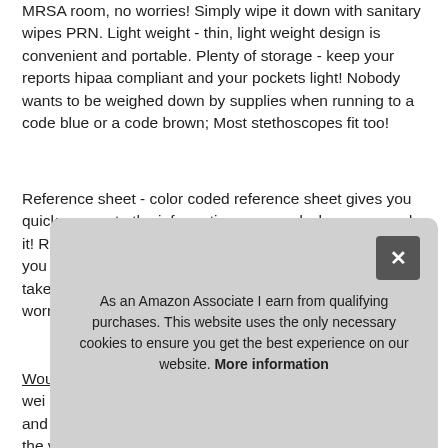MRSA room, no worries! Simply wipe it down with sanitary wipes PRN. Light weight - thin, light weight design is convenient and portable. Plenty of storage - keep your reports hipaa compliant and your pockets light! Nobody wants to be weighed down by supplies when running to a code blue or a code brown; Most stethoscopes fit too!
Reference sheet - color coded reference sheet gives you quick access to the information you need when you need it! References, conversions and values are all there to help you be the best nurse you can be. Water resistant - if you take your clipboard into a C-Diff or MRSA room, no worries! Simply wipe it down with sanitary wipes PRN.
Wound care - a comprehensive wound care guide weighing wound care stages, types, healing, pen pockets and pen loop, and zippers design features. Learn about the various types of wounds, their prevention and care. These medical
As an Amazon Associate I earn from qualifying purchases. This website uses the only necessary cookies to ensure you get the best experience on our website. More information